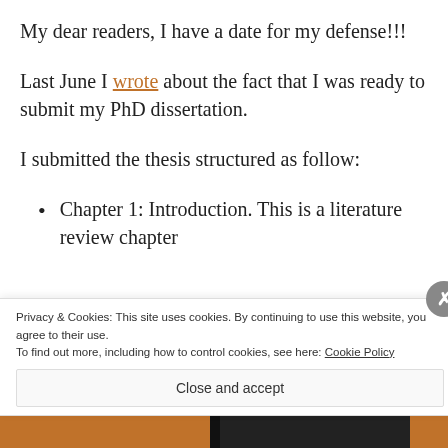My dear readers, I have a date for my defense!!!
Last June I wrote about the fact that I was ready to submit my PhD dissertation.
I submitted the thesis structured as follow:
Chapter 1: Introduction. This is a literature review chapter
Privacy & Cookies: This site uses cookies. By continuing to use this website, you agree to their use.
To find out more, including how to control cookies, see here: Cookie Policy
Close and accept